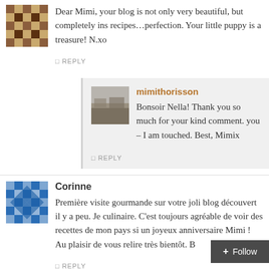Dear Mimi, your blog is not only very beautiful, but completely ins recipes…perfection. Your little puppy is a treasure! N.xo
REPLY
mimithorisson
Bonsoir Nella! Thank you so much for your kind comment. you – I am touched. Best, Mimix
REPLY
Corinne
Première visite gourmande sur votre joli blog découvert il y a peu. Je culinaire. C'est toujours agréable de voir des recettes de mon pays si un joyeux anniversaire Mimi ! Au plaisir de vous relire très bientôt. B
REPLY
Follow